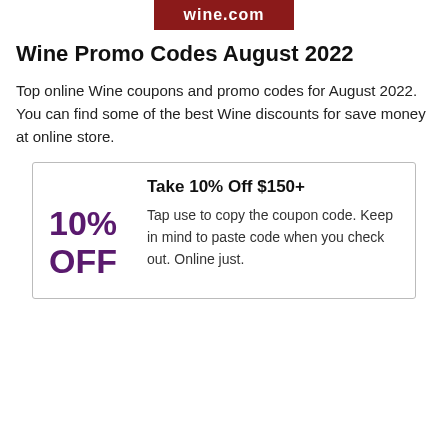[Figure (logo): wine.com logo — white text on dark red background]
Wine Promo Codes August 2022
Top online Wine coupons and promo codes for August 2022. You can find some of the best Wine discounts for save money at online store.
Take 10% Off $150+
10% OFF
Tap use to copy the coupon code. Keep in mind to paste code when you check out. Online just.